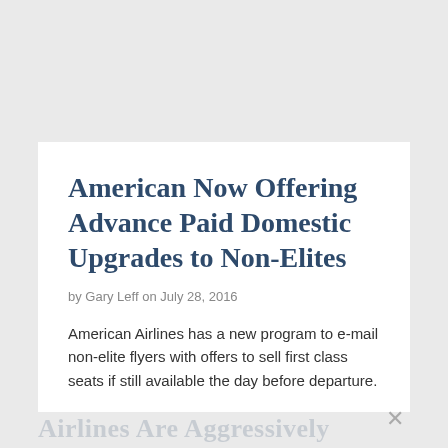American Now Offering Advance Paid Domestic Upgrades to Non-Elites
by Gary Leff on July 28, 2016
American Airlines has a new program to e-mail non-elite flyers with offers to sell first class seats if still available the day before departure.